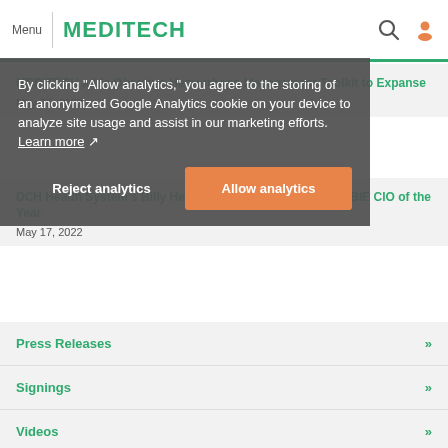Menu | MEDITECH
MEDITECH adds Obstetric Hemorrhage Management Toolkit to Expanse
May 25, 2022
By clicking "Allow analytics," you agree to the storing of an anonymized Google Analytics cookie on your device to analyze site usage and assist in our marketing efforts. Learn more
DCH Health System's Billy Helmandollar recognized as ORBIE CIO of the Year
May 17, 2022
Press Releases »
Signings »
Videos »